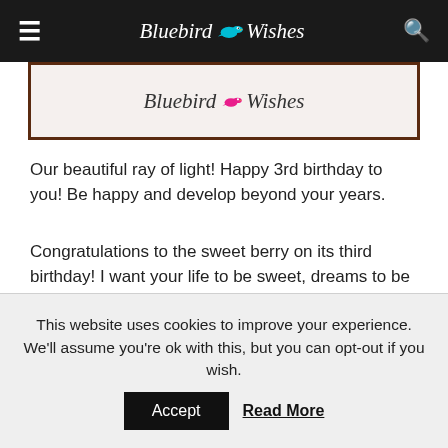Bluebird Wishes
[Figure (screenshot): Bluebird Wishes banner image with logo on brown/cream background]
Our beautiful ray of light! Happy 3rd birthday to you! Be happy and develop beyond your years.
Congratulations to the sweet berry on its third birthday! I want your life to be sweet, dreams to be the most incredible, and joyful emotions overwhelmed every new day.
You are 3 years old today, and I congratulate you with a smile. Let today be a day full of bright events!
This website uses cookies to improve your experience. We'll assume you're ok with this, but you can opt-out if you wish.